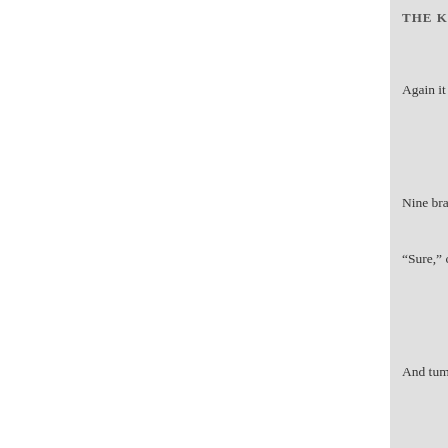THE KING AND THE SPIDE
Again it fell and swung below,
But again it quickly mounte
Till up and down, now fast,
Nine brave attempts were counte
“Sure,” cried the king, ” that fool
Will strive no more to clim
When it toils so hard to reac
And tumbles every time.”
But up the insect went once mor
Ah me! ’tis an anxious min
He’s only a foot from his co